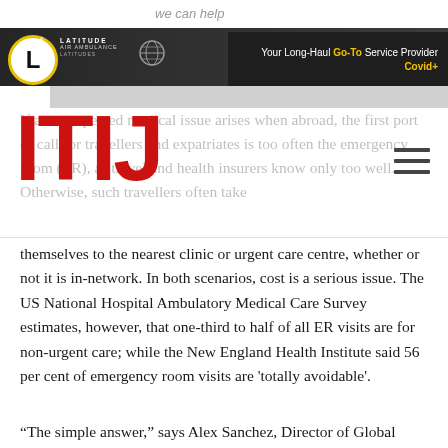[Figure (illustration): Latitude Air Ambulance banner advertisement showing a private jet aircraft with dark bar containing logo and tagline 'Your Long-Haul Go-To Service Provider Covid+']
[Figure (logo): ITIJ large red logo letters overlaid on faded article text, with hamburger menu icon to the right]
If an unexpected medical issue arises when abroad, the first port of call for travellers and expatriates is too often the emergency room (ER), as travel and health insurers know only too well. Otherwise, such travellers often take themselves to the nearest clinic or urgent care centre, whether or not it is in-network. In both scenarios, cost is a serious issue. The US National Hospital Ambulatory Medical Care Survey estimates, however, that one-third to half of all ER visits are for non-urgent care; while the New England Health Institute said 56 per cent of emergency room visits are 'totally avoidable'.
“The simple answer,” says Alex Sanchez, Director of Global